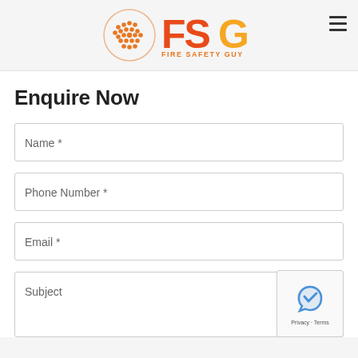FSG Fire Safety Guy
Enquire Now
Name *
Phone Number *
Email *
Subject